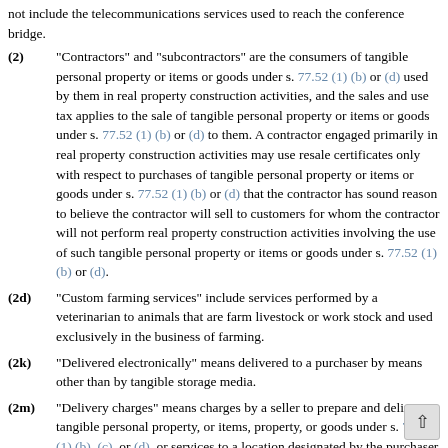not include the telecommunications services used to reach the conference bridge.
(2) "Contractors" and "subcontractors" are the consumers of tangible personal property or items or goods under s. 77.52 (1) (b) or (d) used by them in real property construction activities, and the sales and use tax applies to the sale of tangible personal property or items or goods under s. 77.52 (1) (b) or (d) to them. A contractor engaged primarily in real property construction activities may use resale certificates only with respect to purchases of tangible personal property or items or goods under s. 77.52 (1) (b) or (d) that the contractor has sound reason to believe the contractor will sell to customers for whom the contractor will not perform real property construction activities involving the use of such tangible personal property or items or goods under s. 77.52 (1) (b) or (d).
(2d) "Custom farming services" include services performed by a veterinarian to animals that are farm livestock or work stock and used exclusively in the business of farming.
(2k) "Delivered electronically" means delivered to a purchaser by means other than by tangible storage media.
(2m) "Delivery charges" means charges by a seller to prepare and deliver tangible personal property, or items, property, or goods under s. 77.52 (1) (b), (c), or (d), or services to a location designated by the purchaser of the tangible personal prope...